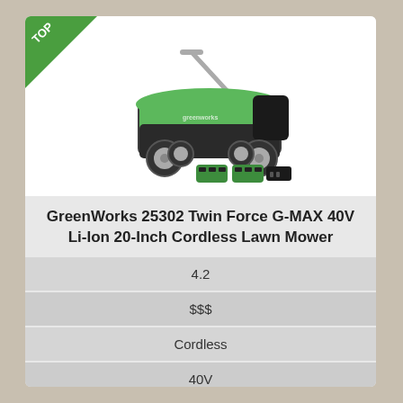[Figure (photo): GreenWorks 25302 Twin Force cordless lawn mower in green and black, with two batteries and a charger shown in front, on white background. Green 'TOP' banner in upper left corner.]
GreenWorks 25302 Twin Force G-MAX 40V Li-Ion 20-Inch Cordless Lawn Mower
4.2
$$$
Cordless
40V
20"